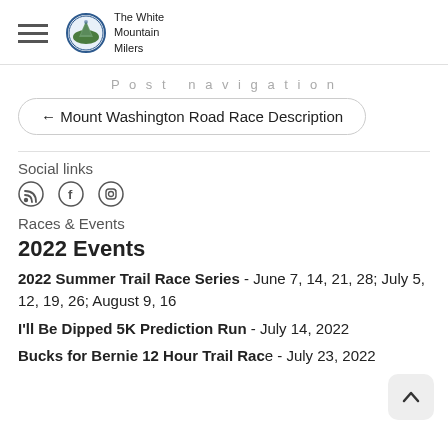The White Mountain Milers
Post navigation
← Mount Washington Road Race Description
Social links
[Figure (other): Social media icons: RSS feed, Facebook, Instagram]
Races & Events
2022 Events
2022 Summer Trail Race Series - June 7, 14, 21, 28; July 5, 12, 19, 26; August 9, 16
I'll Be Dipped 5K Prediction Run - July 14, 2022
Bucks for Bernie 12 Hour Trail Race - July 23, 2022